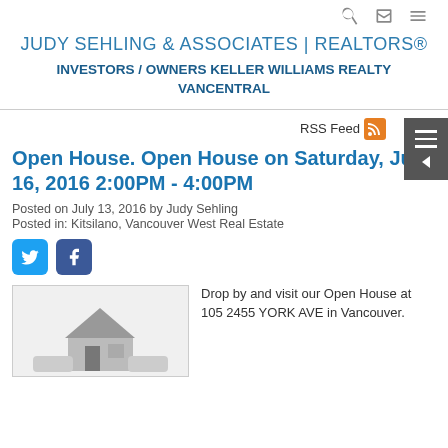JUDY SEHLING & ASSOCIATES | REALTORS®
INVESTORS / OWNERS KELLER WILLIAMS REALTY VANCENTRAL
RSS Feed
Open House. Open House on Saturday, July 16, 2016 2:00PM - 4:00PM
Posted on July 13, 2016 by Judy Sehling
Posted in: Kitsilano, Vancouver West Real Estate
[Figure (illustration): Social media share buttons: Twitter bird icon and Facebook 'f' icon]
[Figure (photo): Property or house illustration image placeholder]
Drop by and visit our Open House at 105 2455 YORK AVE in Vancouver.